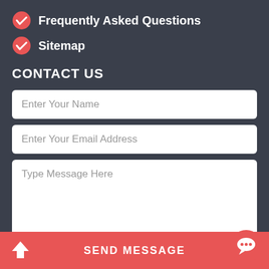Frequently Asked Questions
Sitemap
CONTACT US
Enter Your Name
Enter Your Email Address
Type Message Here
SEND MESSAGE